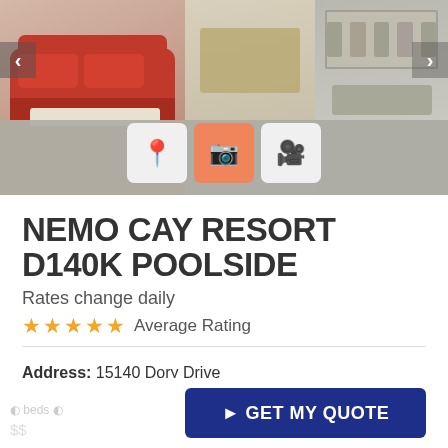[Figure (photo): Property photo strip showing interior photos of the vacation rental — red sofa living room on left, shelving/dining room in middle, chairs/wall art on right. Navigation arrows and icon buttons (location, camera active, video) overlay the bottom of the strip.]
NEMO CAY RESORT D140K POOLSIDE
Rates change daily
★★★★★ Average Rating
Address: 15140 Dory Drive
Location: Corpus Christi
Type: Townhouse
View: Near The Ocean
> GET MY QUOTE